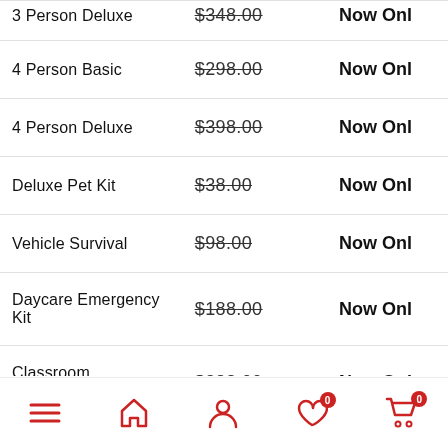| Product | Original Price | Sale Price |
| --- | --- | --- |
| 3 Person Deluxe | $348.00 | Now Only... |
| 4 Person Basic | $298.00 | Now Only... |
| 4 Person Deluxe | $398.00 | Now Only... |
| Deluxe Pet Kit | $38.00 | Now Only... |
| Vehicle Survival | $98.00 | Now Only... |
| Daycare Emergency Kit | $188.00 | Now Only... |
| Classroom Emergency Kit | $288.00 | Now Only... |
Navigation bar with menu, home, account, wishlist (0), cart (0) icons